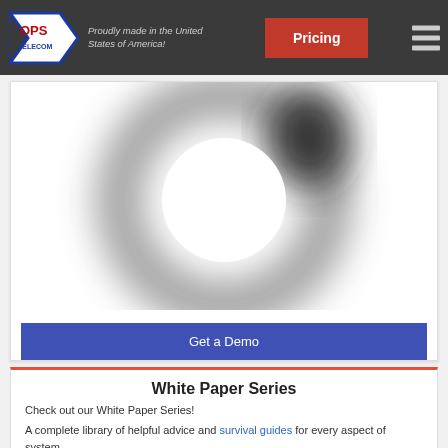OPS Telecom — Proudly made in the United States of America! | Pricing
[Figure (photo): Blurred circular ring shape (partially complete circle, dark at top-right, gray elsewhere) on white background, likely a loading spinner or logo element]
Get a Demo
White Paper Series
Check out our White Paper Series!
A complete library of helpful advice and survival guides for every aspect of system